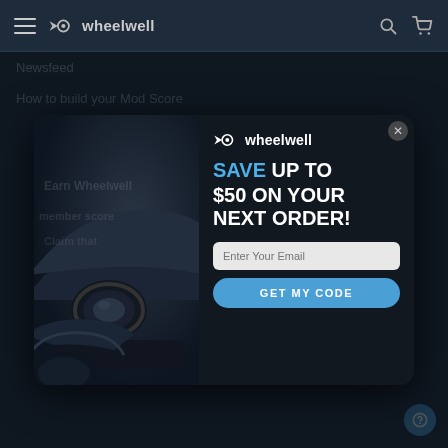wheelwell
Newsfeed
How to build your Mod Score
[Figure (screenshot): Wheelwell promotional modal popup overlay on a dark automotive website. Left half shows a dark muscle car (Ford Mustang) photo. Right half has a dark background with Wheelwell logo, 'SAVE UP TO $50 ON YOUR NEXT ORDER!' in bold white and blue text, an email input field, and a 'GET MY CODE' blue button. Close X button in top-right corner.]